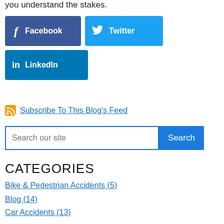you understand the stakes.
[Figure (other): Social sharing buttons: Facebook (dark blue), Twitter (light blue), LinkedIn (blue)]
Subscribe To This Blog's Feed
Search our site [Search button]
CATEGORIES
Bike & Pedestrian Accidents (5)
Blog (14)
Car Accidents (13)
Catastrophic Injuries (51)